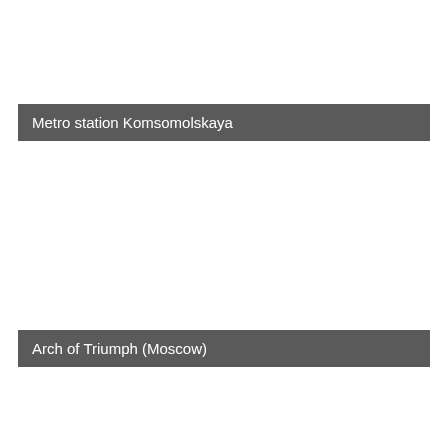Metro station Komsomolskaya
Arch of Triumph (Moscow)